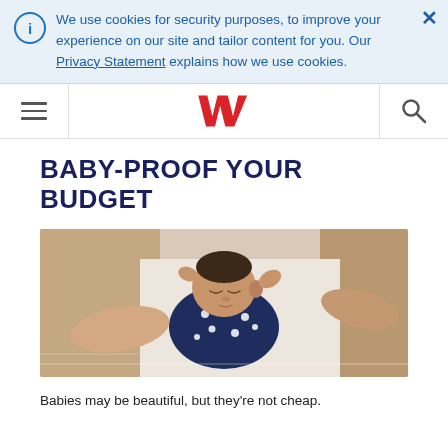We use cookies for security purposes, to improve your experience on our site and tailor content for you. Our Privacy Statement explains how we use cookies.
[Figure (logo): Westpac bank logo — red W-shaped chevron mark]
BABY-PROOF YOUR BUDGET
[Figure (photo): Overhead photo of a sleeping newborn baby in a navy blue polka-dot onesie, with an adult's hands gently resting nearby on a white surface.]
Babies may be beautiful, but they're not cheap.